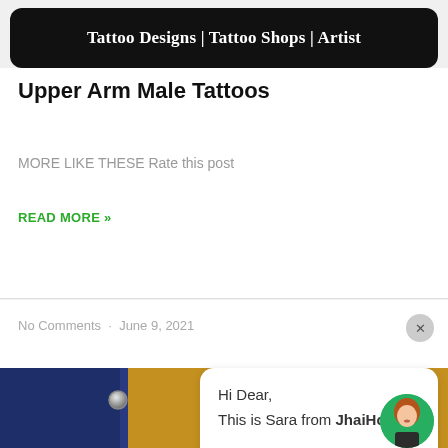Tattoo Designs | Tattoo Shops | Artist
Upper Arm Male Tattoos
MORE LIKE THESE Rate this post
READ MORE »
No Comments · June 9, 2021
[Figure (photo): Photo of a person near a blue door and yellow wall, partially visible]
Hi Dear,

This is Sara from JhaiHo!